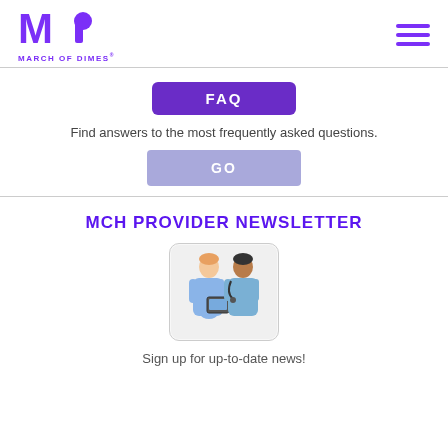March of Dimes logo and navigation menu
FAQ
Find answers to the most frequently asked questions.
GO
MCH PROVIDER NEWSLETTER
[Figure (photo): Two healthcare professionals in blue scrubs looking at a tablet]
Sign up for up-to-date news!